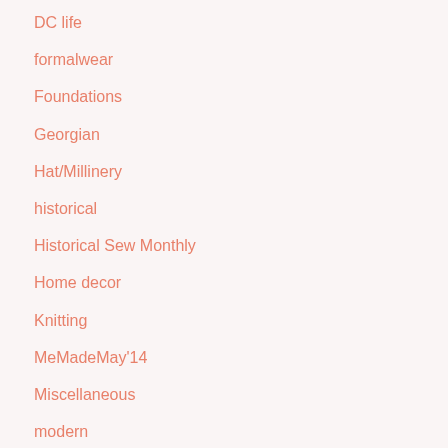DC life
formalwear
Foundations
Georgian
Hat/Millinery
historical
Historical Sew Monthly
Home decor
Knitting
MeMadeMay'14
Miscellaneous
modern
Museum
Natural Form
Not Sewing
Outerwear